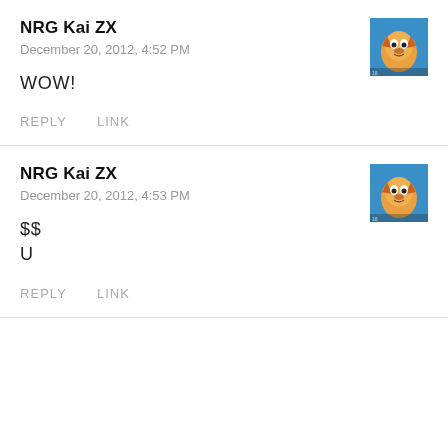NRG Kai ZX
December 20, 2012, 4:52 PM
[Figure (photo): Avatar image of animated fox character on blue background]
WOW!
REPLY   LINK
NRG Kai ZX
December 20, 2012, 4:53 PM
[Figure (photo): Avatar image of animated fox character on blue background]
$$
U
REPLY   LINK